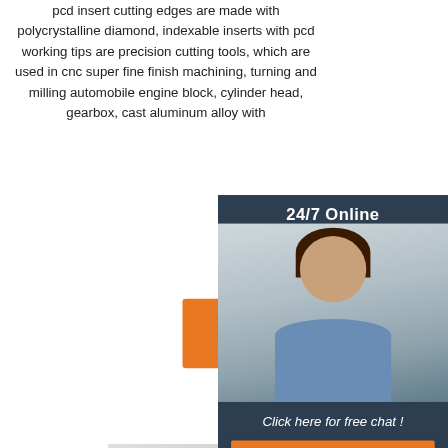pcd insert cutting edges are made with polycrystalline diamond, indexable inserts with pcd working tips are precision cutting tools, which are used in cnc super fine finish machining, turning and milling automobile engine block, cylinder head, gearbox, cast aluminum alloy with
[Figure (other): Orange 'Get Price' button]
[Figure (other): Dark blue sidebar widget with '24/7 Online' header, photo of smiling woman with headset, 'Click here for free chat!' text, and orange QUOTATION button]
[Figure (photo): Close-up photo of soft fabric/fur material being touched by a hand, in grayscale tones]
[Figure (other): Orange and dark 'TOP' badge with dot pattern in bottom right area]